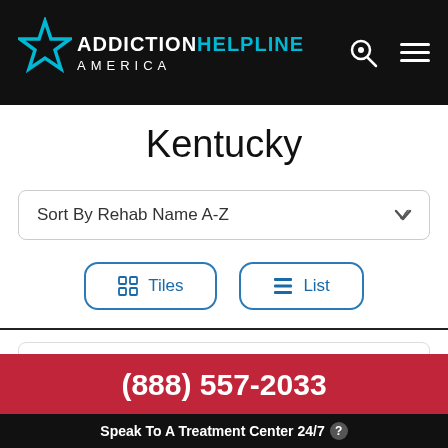[Figure (logo): Addiction Helpline America logo with teal star and text]
Kentucky
Sort By Rehab Name A-Z
Tiles  List
Alliance Counseling Associates
(888) 557-2033
Speak To A Treatment Center 24/7